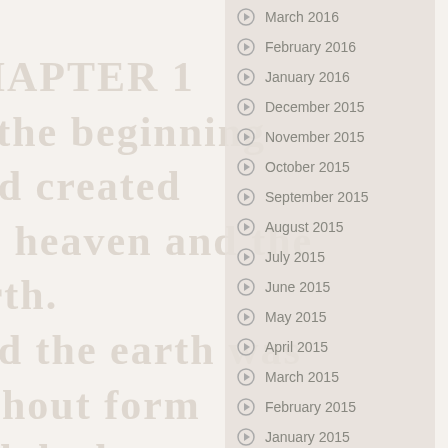March 2016
February 2016
January 2016
December 2015
November 2015
October 2015
September 2015
August 2015
July 2015
June 2015
May 2015
April 2015
March 2015
February 2015
January 2015